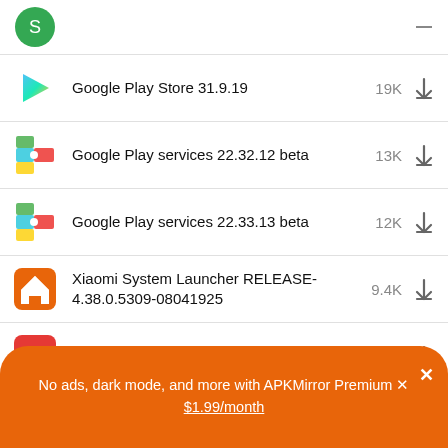(partial top row — green icon, partially visible)
Google Play Store 31.9.19  19K  ↓
Google Play services 22.32.12 beta  13K  ↓
Google Play services 22.33.13 beta  12K  ↓
Xiaomi System Launcher RELEASE-4.38.0.5309-08041925  9.4K  ↓
Xiaomi Services & feedback 13.0.3.14  8.2K  ↓
No ads, dark mode, and more with APKMirror Premium ✕
$1.99/month